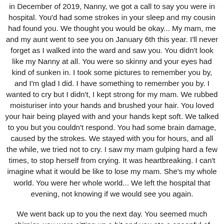in December of 2019, Nanny, we got a call to say you were in hospital. You'd had some strokes in your sleep and my cousin had found you. We thought you would be okay... My mam, me and my aunt went to see you on January 6th this year. I'll never forget as I walked into the ward and saw you. You didn't look like my Nanny at all. You were so skinny and your eyes had kind of sunken in. I took some pictures to remember you by, and I'm glad I did. I have something to remember you by. I wanted to cry but I didn't, I kept strong for my mam. We rubbed moisturiser into your hands and brushed your hair. You loved your hair being played with and your hands kept soft. We talked to you but you couldn't respond. You had some brain damage, caused by the strokes. We stayed with you for hours, and all the while, we tried not to cry. I saw my mam gulping hard a few times, to stop herself from crying. It was heartbreaking. I can't imagine what it would be like to lose my mam. She's my whole world. You were her whole world... We left the hospital that evening, not knowing if we would see you again.
We went back up to you the next day. You seemed much chirpier, you were sitting up a bit and you ate a spoonful of porridge. It was something. I held your hand and told you to squeeze it if you knew I was there and if you knew who I was. You gave me a tiny squeeze and I almost cried. I looked into your gorgeous green eyes and you gave me the